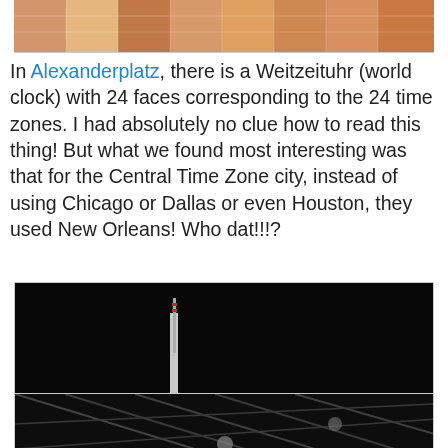[Figure (photo): Partial top photo of colorful striped ceiling or architectural structure, cropped at top]
In Alexanderplatz, there is a Weitzeituhr (world clock) with 24 faces corresponding to the 24 time zones. I had absolutely no clue how to read this thing! But what we found most interesting was that for the Central Time Zone city, instead of using Chicago or Dallas or even Houston, they used New Orleans! Who dat!!!?
[Figure (photo): Night photo of the Alexanderplatz world clock (Weltzeituhr) with the Berlin TV Tower (Fernsehturm) in the background. The clock structure is illuminated showing time zone numbers including 22, 24. Sign at bottom reads ALEXANDERPLATZ.]
[Figure (photo): Partial bottom photo showing dark background with metallic structural elements, beginning of another Alexanderplatz scene]